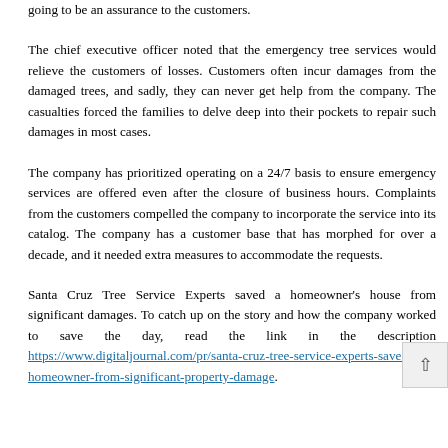going to be an assurance to the customers.
The chief executive officer noted that the emergency tree services would relieve the customers of losses. Customers often incur damages from the damaged trees, and sadly, they can never get help from the company. The casualties forced the families to delve deep into their pockets to repair such damages in most cases.
The company has prioritized operating on a 24/7 basis to ensure emergency services are offered even after the closure of business hours. Complaints from the customers compelled the company to incorporate the service into its catalog. The company has a customer base that has morphed for over a decade, and it needed extra measures to accommodate the requests.
Santa Cruz Tree Service Experts saved a homeowner's house from significant damages. To catch up on the story and how the company worked to save the day, read the link in the description https://www.digitaljournal.com/pr/santa-cruz-tree-service-experts-saves-homeowner-from-significant-property-damage.